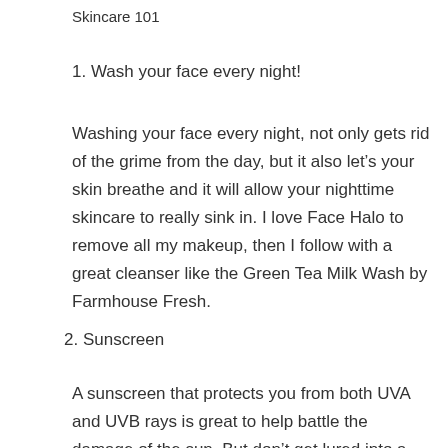Skincare 101
1. Wash your face every night!
Washing your face every night, not only gets rid of the grime from the day, but it also let’s your skin breathe and it will allow your nighttime skincare to really sink in. I love Face Halo to remove all my makeup, then I follow with a great cleanser like the Green Tea Milk Wash by Farmhouse Fresh.
2. Sunscreen
A sunscreen that protects you from both UVA and UVB rays is great to help battle the damage of the sun. But don’t get lured into a false sense of security. While